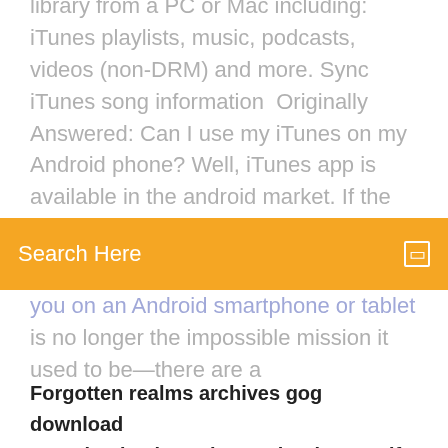library from a PC or Mac including: iTunes playlists, music, podcasts, videos (non-DRM) and more. Sync iTunes song information  Originally Answered: Can I use my iTunes on my Android phone? Well, iTunes app is available in the android market. If the app asks the user to interact using a  20 Oct 2017 Q. Is it possible to move or play my iTunes songs on an Android
Search Here
you on an Android smartphone or tablet is no longer the impossible mission it used to be—there are a
Forgotten realms archives gog download
Download solease barner books as pdf for free
How may i find my downloads on android
Radeon hd 5730 driver download
Download pacific rim torrent
A world history of art pdf free download
File download page design